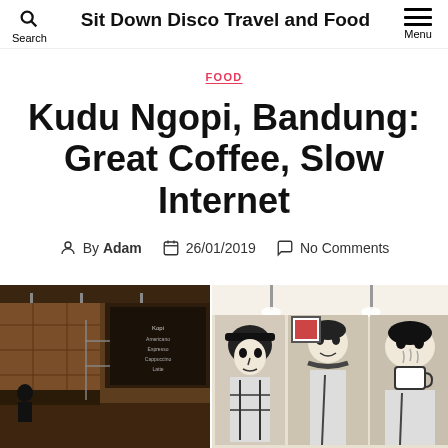Sit Down Disco Travel and Food | Search | Menu
FOOD
Kudu Ngopi, Bandung: Great Coffee, Slow Internet
By Adam | 26/01/2019 | No Comments
[Figure (photo): Two side-by-side photos of Kudu Ngopi cafe in Bandung: left shows the cafe interior with warm brown wooden walls, ceiling lights, a blackboard menu, and a customer seated; right shows a large black-and-white comic/mural artwork on the cafe wall depicting stylized figures drinking coffee.]